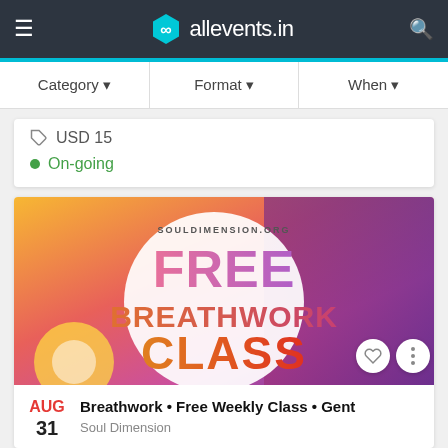allevents.in
Category ▾   Format ▾   When ▾
USD 15
On-going
[Figure (photo): Event banner for Free Breathwork Class by souldimension.org – colorful gradient background with large text FREE BREATHWORK CLASS]
AUG 31
Breathwork • Free Weekly Class • Gent
Soul Dimension